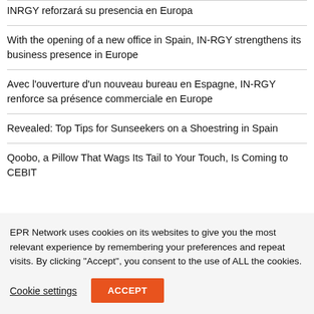INRGY reforzará su presencia en Europa
With the opening of a new office in Spain, IN-RGY strengthens its business presence in Europe
Avec l'ouverture d'un nouveau bureau en Espagne, IN-RGY renforce sa présence commerciale en Europe
Revealed: Top Tips for Sunseekers on a Shoestring in Spain
Qoobo, a Pillow That Wags Its Tail to Your Touch, Is Coming to CEBIT
EPR Network uses cookies on its websites to give you the most relevant experience by remembering your preferences and repeat visits. By clicking “Accept”, you consent to the use of ALL the cookies.
Cookie settings | ACCEPT